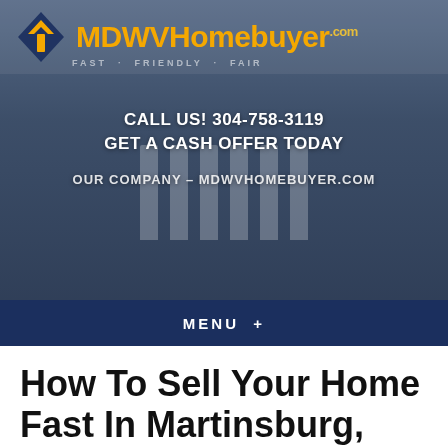[Figure (screenshot): MDWVHomebuyer.com website header with house background image, logo, phone number, and navigation menu]
How To Sell Your Home Fast In Martinsburg, WV
January 14, 2020
By mdwvhomebuyer.com